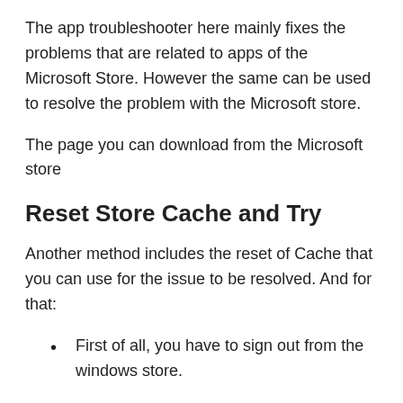The app troubleshooter here mainly fixes the problems that are related to apps of the Microsoft Store. However the same can be used to resolve the problem with the Microsoft store.
The page you can download from the Microsoft store
Reset Store Cache and Try
Another method includes the reset of Cache that you can use for the issue to be resolved. And for that:
First of all, you have to sign out from the windows store.